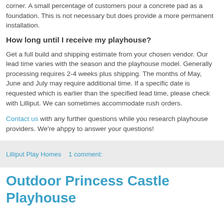corner. A small percentage of customers pour a concrete pad as a foundation. This is not necessary but does provide a more permanent installation.
How long until I receive my playhouse?
Get a full build and shipping estimate from your chosen vendor. Our lead time varies with the season and the playhouse model. Generally processing requires 2-4 weeks plus shipping. The months of May, June and July may require additional time. If a specific date is requested which is earlier than the specified lead time, please check with Lilliput. We can sometimes accommodate rush orders.
Contact us with any further questions while you research playhouse providers. We're ahppy to answer your questions!
Lilliput Play Homes    1 comment:
Outdoor Princess Castle Playhouse